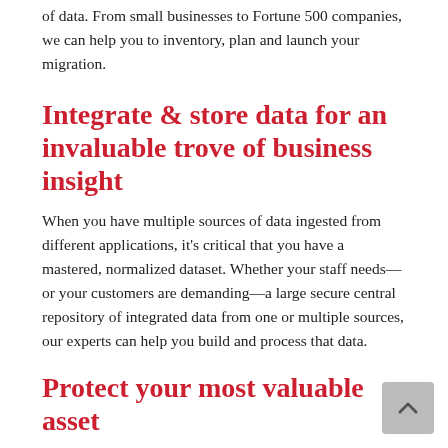of data. From small businesses to Fortune 500 companies, we can help you to inventory, plan and launch your migration.
Integrate & store data for an invaluable trove of business insight
When you have multiple sources of data ingested from different applications, it's critical that you have a mastered, normalized dataset. Whether your staff needs—or your customers are demanding—a large secure central repository of integrated data from one or multiple sources, our experts can help you build and process that data.
Protect your most valuable asset
Data is the most valuable asset you have, and the risk